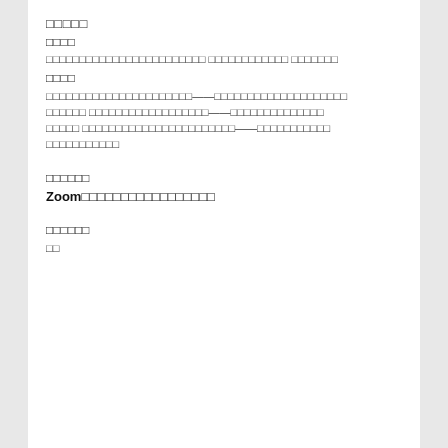□□□□□
□□□□
□□□□□□□□□□□□□□□□□□□□□□□□ □□□□□□□□□□□□ □□□□□□□
□□□□
□□□□□□□□□□□□□□□□□□□□□□——□□□□□□□□□□□□□□□□□□□□
□□□□□□ □□□□□□□□□□□□□□□□□□——□□□□□□□□□□□□□□
□□□□□ □□□□□□□□□□□□□□□□□□□□□□□——□□□□□□□□□□□
□□□□□□□□□□□
□□□□□□
Zoom□□□□□□□□□□□□□□□□□
□□□□□□
□□